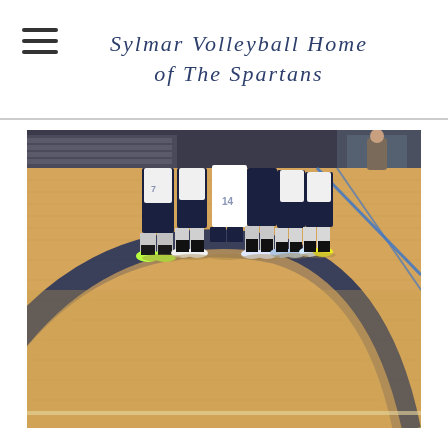Sylmar Volleyball Home of The Spartans
[Figure (photo): Team huddle photo of volleyball players in white jerseys and dark shorts standing on a gymnasium hardwood court with navy blue painted logo/lines on the floor. Players are huddled together, visible from mid-torso down, wearing various colored athletic shoes. Bleachers visible in the background.]